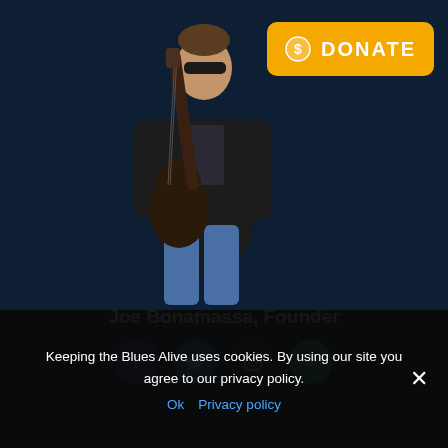[Figure (photo): Joe Bonamassa holding a dark electric guitar (Les Paul style), wearing sunglasses, black blazer, and jeans, standing against a dark navy background.]
[Figure (other): Orange DONATE button with a coin/dollar icon in the top right corner of the page.]
Joe Bonamassa, Founder
[Figure (other): Four social media icons in a row: Facebook (dark blue), Twitter (light blue), Instagram (dark grey), Spotify (green).]
Keeping the Blues Alive uses cookies. By using our site you agree to our privacy policy.
Ok  Privacy policy